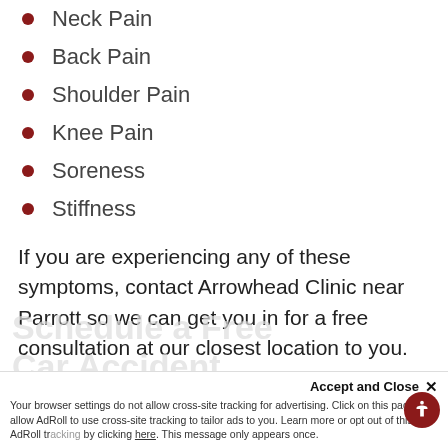Neck Pain
Back Pain
Shoulder Pain
Knee Pain
Soreness
Stiffness
If you are experiencing any of these symptoms, contact Arrowhead Clinic near Parrott so we can get you in for a free consultation at our closest location to you. Click the button below to call now.
Accept and Close ✕ Your browser settings do not allow cross-site tracking for advertising. Click on this page to allow AdRoll to use cross-site tracking to tailor ads to you. Learn more or opt out of this AdRoll tracking by clicking here. This message only appears once.